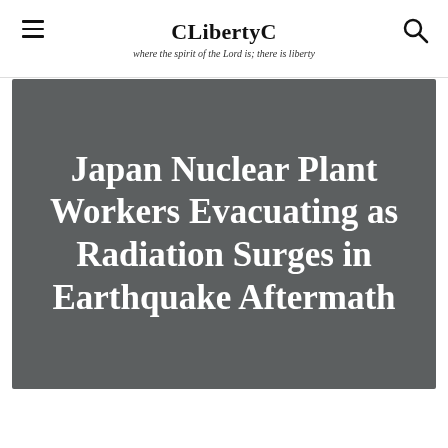CLibertyC
where the spirit of the Lord is; there is liberty
Japan Nuclear Plant Workers Evacuating as Radiation Surges in Earthquake Aftermath